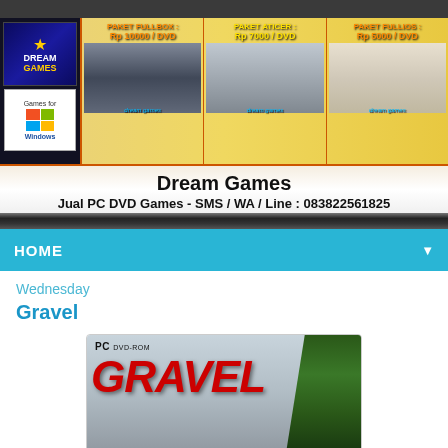[Figure (photo): Dream Games banner showing store logo, Windows games badge, and three promotional sections for game DVD packages with prices. Text includes PAKET FULLBOX Rp 10000/DVD, PAKET ATICER Rp 7000/DVD, PAKET FULLIOS Rp 5000/DVD.]
Dream Games
Jual PC DVD Games - SMS / WA / Line : 083822561825
HOME
Wednesday
Gravel
[Figure (photo): Product box image for Gravel PC DVD-ROM game showing red GRAVEL text logo against a sky and tree background.]